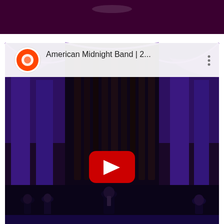[Figure (screenshot): Top portion: a dark purple/maroon banner image cropped at top. Below: an embedded YouTube video player showing 'American Midnight Band | 2...' with a YouTube logo icon on the left, video title text, and a three-dot menu icon on the right. The video thumbnail shows a grand concert hall with large pipe organ, purple lighting, draped curtains, and people standing at the bottom. A red YouTube play button is centered on the video.]